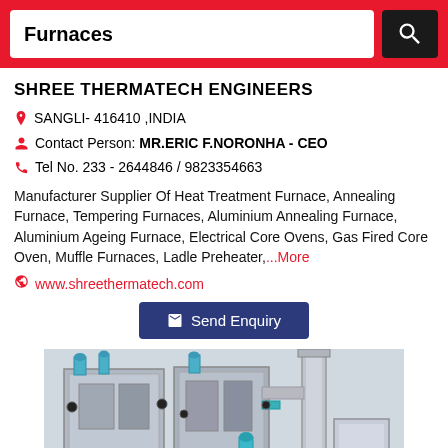Furnaces
SHREE THERMATECH ENGINEERS
SANGLI- 416410 ,INDIA
Contact Person: MR.ERIC F.NORONHA - CEO
Tel No. 233 - 2644846 / 9823354663
Manufacturer Supplier Of Heat Treatment Furnace, Annealing Furnace, Tempering Furnaces, Aluminium Annealing Furnace, Aluminium Ageing Furnace, Electrical Core Ovens, Gas Fired Core Oven, Muffle Furnaces, Ladle Preheater,...More
www.shreethermatech.com
[Figure (photo): Industrial furnace equipment — large metal box units with pipes and fittings, including a cylindrical stack/chimney component, shown in a factory setting.]